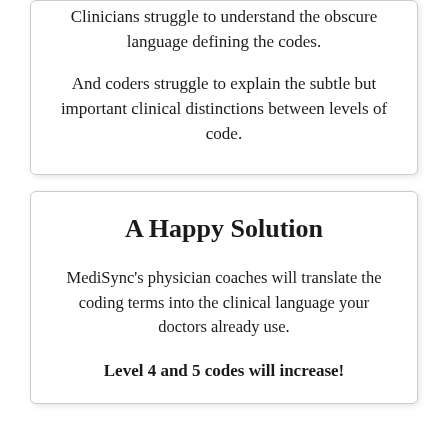Clinicians struggle to understand the obscure language defining the codes.
And coders struggle to explain the subtle but important clinical distinctions between levels of code.
A Happy Solution
MediSync’s physician coaches will translate the coding terms into the clinical language your doctors already use.
Level 4 and 5 codes will increase!